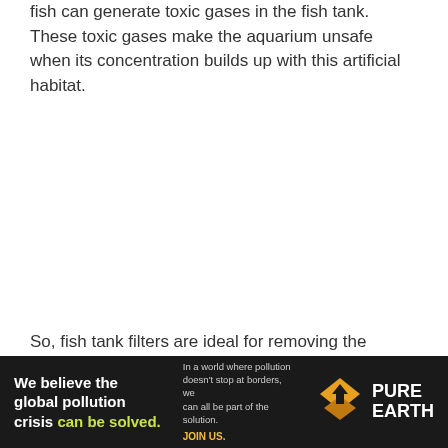fish can generate toxic gases in the fish tank. These toxic gases make the aquarium unsafe when its concentration builds up with this artificial habitat.
So, fish tank filters are ideal for removing the toxicity of gases produced by the excrement and respiration of our finned pets. Every aquarium needs a filter to enhance the
[Figure (other): Advertisement banner for Pure Earth organization. Dark background with white bold text reading 'We believe the global pollution crisis can be solved.' with 'can be solved.' in green. Middle section reads 'In a world where pollution doesn't stop at borders, we can all be part of the solution. JOIN US.' Right section shows the Pure Earth logo (yellow/orange diamond shape with downward arrow) and 'PURE EARTH' in white bold text.]